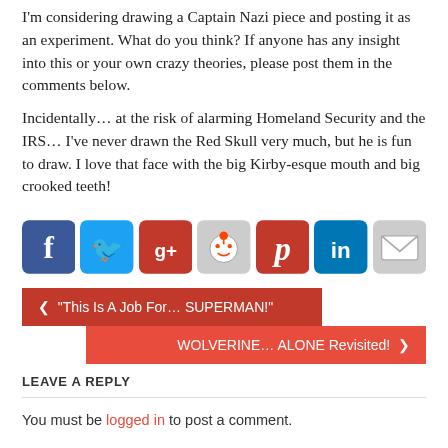I'm considering drawing a Captain Nazi piece and posting it as an experiment. What do you think? If anyone has any insight into this or your own crazy theories, please post them in the comments below.
Incidentally... at the risk of alarming Homeland Security and the IRS... I've never drawn the Red Skull very much, but he is fun to draw. I love that face with the big Kirby-esque mouth and big crooked teeth!
[Figure (infographic): Social media sharing icons: Facebook, Twitter, Google+, Reddit, Pinterest, LinkedIn, Email]
< “This Is A Job For… SUPERMAN!”
WOLVERINE… ALONE Revisited! >
LEAVE A REPLY
You must be logged in to post a comment.